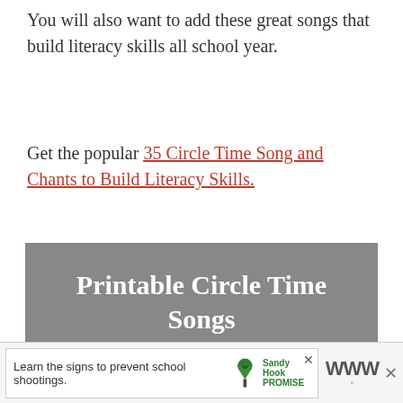You will also want to add these great songs that build literacy skills all school year.
Get the popular 35 Circle Time Song and Chants to Build Literacy Skills.
[Figure (illustration): Gray promotional banner showing 'Printable Circle Time Songs and Resources' with white bold text, and two white paper cards partially visible at the bottom suggesting printable worksheets with text 'il Delivery' visible.]
Grab the list of 100 Books Every Child Should Hear Before Kindergarten.
[Figure (screenshot): Advertisement bar at the bottom showing 'Learn the signs to prevent school shootings.' with Sandy Hook Promise logo (green tree) and a WeatherBug icon on the right.]